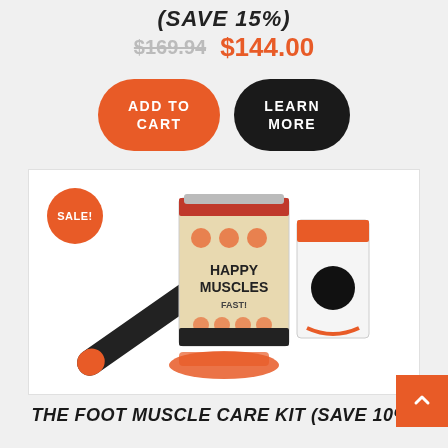(SAVE 15%)
$169.94 $144.00
ADD TO CART
LEARN MORE
[Figure (photo): Product photo of Happy Muscles foot care kit, including a foam roller, a booklet titled 'Happy Muscles Fast!', and a massage rope ball with orange accessories. A circular orange 'SALE!' badge overlaps the top-left corner.]
THE FOOT MUSCLE CARE KIT (SAVE 10%)